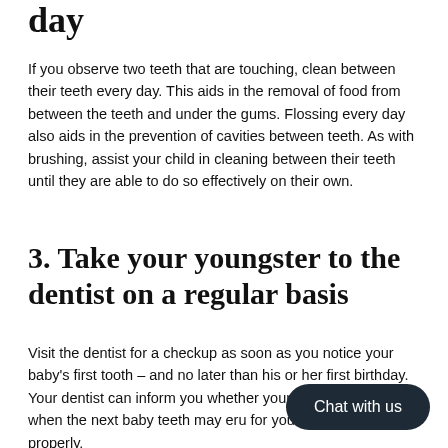day
If you observe two teeth that are touching, clean between their teeth every day. This aids in the removal of food from between the teeth and under the gums. Flossing every day also aids in the prevention of cavities between teeth. As with brushing, assist your child in cleaning between their teeth until they are able to do so effectively on their own.
3. Take your youngster to the dentist on a regular basis
Visit the dentist for a checkup as soon as you notice your baby's first tooth – and no later than his or her first birthday. Your dentist can inform you whether your baby cavities, when the next baby teeth may eru for your child's teeth properly.